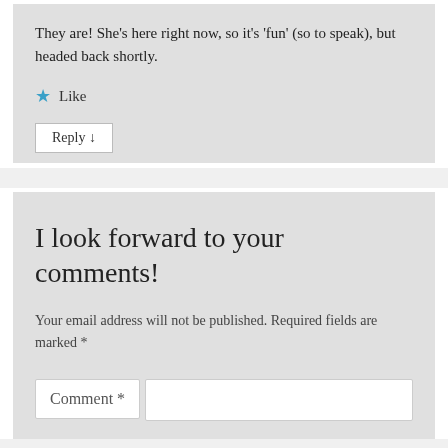They are! She's here right now, so it's 'fun' (so to speak), but headed back shortly.
★ Like
Reply ↓
I look forward to your comments!
Your email address will not be published. Required fields are marked *
Comment *